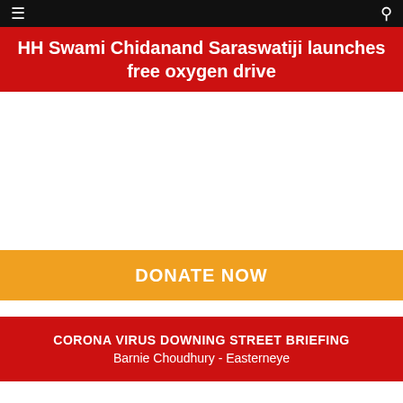☰  🔍
HH Swami Chidanand Saraswatiji launches free oxygen drive
DONATE NOW
CORONA VIRUS DOWNING STREET BRIEFING
Barnie Choudhury - Easterneye